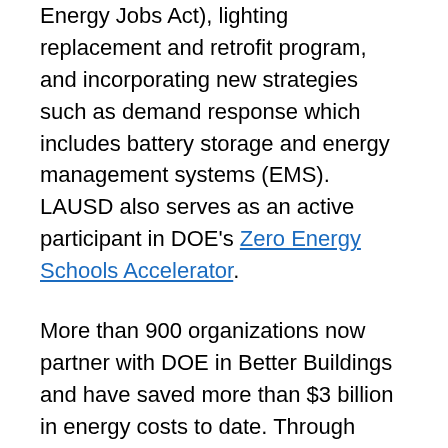Energy Jobs Act), lighting replacement and retrofit program, and incorporating new strategies such as demand response which includes battery storage and energy management systems (EMS). LAUSD also serves as an active participant in DOE's Zero Energy Schools Accelerator.
More than 900 organizations now partner with DOE in Better Buildings and have saved more than $3 billion in energy costs to date. Through Better Buildings, DOE partners with leaders in the public and private sectors to make the nation's homes, commercial buildings, and industrial plants more energy efficient by accelerating investment and sharing of